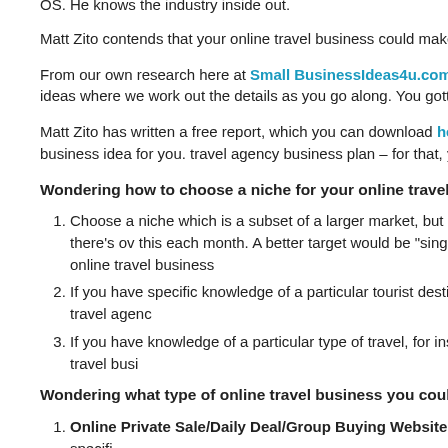OS. He knows the industry inside out.
Matt Zito contends that your online travel business could make you a seven figures.
From our own research here at Small BusinessIdeas4u.com, we be you're doing. This is not one of those online business ideas where we work out the details as you go along. You gotta have a good plan – an Academy.
Matt Zito has written a free report, which you can download here – it help you decide whether this is the best online business idea for you. travel agency business plan – for that, you really need the complete c
Wondering how to choose a niche for your online travel busines Zito's tips for success:
Choose a niche which is a subset of a larger market, but still pa a big, broad market where the big boys congregate – there's ov this each month. A better target would be "single cruises" – at a enough to build a profitable home-based online travel business
If you have specific knowledge of a particular tourist destination live, you could use this as the basis for your online travel agenc
If you have knowledge of a particular type of travel, for instance destinations, this could form the basis of your online travel busi
Wondering what type of online travel business you could start?
Online Private Sale/Daily Deal/Group Buying Website. In th sale, group buying member-only website catering for specifi